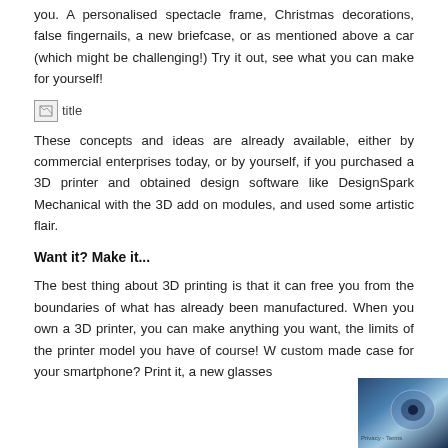you. A personalised spectacle frame, Christmas decorations, false fingernails, a new briefcase, or as mentioned above a car (which might be challenging!) Try it out, see what you can make for yourself!
[Figure (illustration): Broken image placeholder with alt text 'title']
These concepts and ideas are already available, either by commercial enterprises today, or by yourself, if you purchased a 3D printer and obtained design software like DesignSpark Mechanical with the 3D add on modules, and used some artistic flair.
Want it? Make it...
The best thing about 3D printing is that it can free you from the boundaries of what has already been manufactured. When you own a 3D printer, you can make anything you want, the limits of the printer model you have of course! W... custom made case for your smartphone? Print it, a new glasses